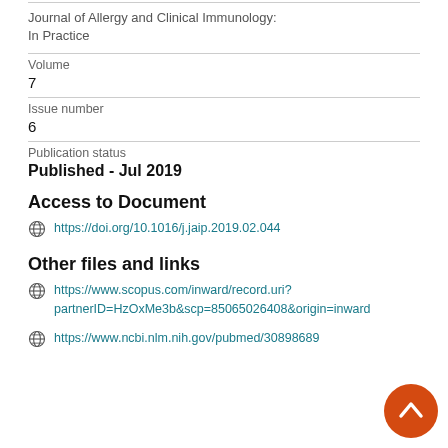Journal of Allergy and Clinical Immunology: In Practice
Volume
7
Issue number
6
Publication status
Published - Jul 2019
Access to Document
https://doi.org/10.1016/j.jaip.2019.02.044
Other files and links
https://www.scopus.com/inward/record.uri?partnerID=HzOxMe3b&scp=85065026408&origin=inward
https://www.ncbi.nlm.nih.gov/pubmed/30898689